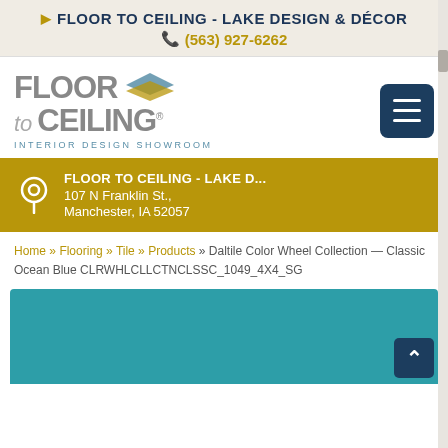FLOOR TO CEILING - LAKE DESIGN & DÉCOR
(563) 927-6262
[Figure (logo): Floor to Ceiling Interior Design Showroom logo with diamond shape graphic and hamburger menu button]
FLOOR TO CEILING - LAKE D...
107 N Franklin St.,
Manchester, IA 52057
Home » Flooring » Tile » Products » Daltile Color Wheel Collection — Classic Ocean Blue CLRWHLCLLCTNCLSSC_1049_4X4_SG
[Figure (photo): Teal/ocean blue tile product image — partial view]